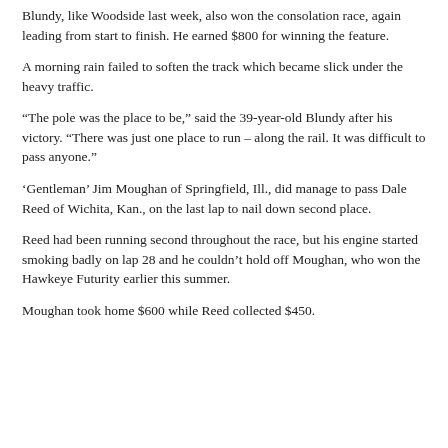Blundy, like Woodside last week, also won the consolation race, again leading from start to finish. He earned $800 for winning the feature.
A morning rain failed to soften the track which became slick under the heavy traffic.
“The pole was the place to be,” said the 39-year-old Blundy after his victory. “There was just one place to run – along the rail. It was difficult to pass anyone.”
‘Gentleman’ Jim Moughan of Springfield, Ill., did manage to pass Dale Reed of Wichita, Kan., on the last lap to nail down second place.
Reed had been running second throughout the race, but his engine started smoking badly on lap 28 and he couldn’t hold off Moughan, who won the Hawkeye Futurity earlier this summer.
Moughan took home $600 while Reed collected $450.